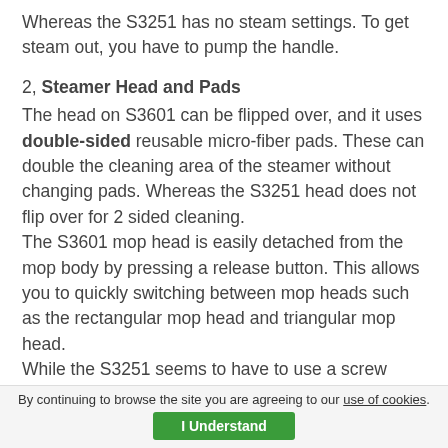Whereas the S3251 has no steam settings. To get steam out, you have to pump the handle.
2, Steamer Head and Pads
The head on S3601 can be flipped over, and it uses double-sided reusable micro-fiber pads. These can double the cleaning area of the steamer without changing pads. Whereas the S3251 head does not flip over for 2 sided cleaning.
The S3601 mop head is easily detached from the mop body by pressing a release button. This allows you to quickly switching between mop heads such as the rectangular mop head and triangular mop head.
While the S3251 seems to have to use a screw driver to detach the head.
3, Tank Capacity
By continuing to browse the site you are agreeing to our use of cookies. I Understand